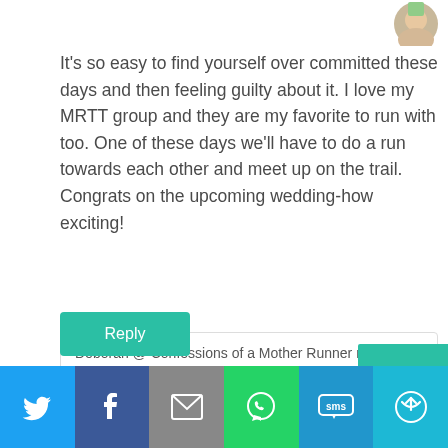[Figure (photo): Circular profile picture of a person, partially cropped, top right corner]
It's so easy to find yourself over committed these days and then feeling guilty about it. I love my MRTT group and they are my favorite to run with too. One of these days we'll have to do a run towards each other and meet up on the trail. Congrats on the upcoming wedding-how exciting!
Deborah @ Confessions of a Mother Runner recently posted…Reston Relay Tri
Reply
[Figure (logo): Red heart/wings logo icon in the quoted box]
[Figure (infographic): Social sharing bar with Twitter, Facebook, Email, WhatsApp, SMS, and More buttons]